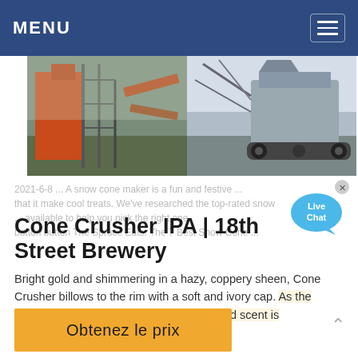MENU
[Figure (photo): Industrial machinery photos: orange cone crusher equipment on left, gray industrial conveyor/crusher machinery on right]
[Figure (other): Live Chat speech bubble icon in cyan/blue]
2021-6-8 ... A snow cone maker is a fun and festive ... that it make cool treats. We've researched the top-rated snow ... available to help you pick the right one button button The Spruce Eats. The 7 Best Snow Cone ...
Cone Crusher IPA | 18th Street Brewery
Bright gold and shimmering in a hazy, coppery sheen, Cone Crusher billows to the rim with a soft and ivory cap. As the aromas spill onto the nose, the fruit forward scent is ...
Obtenez le prix